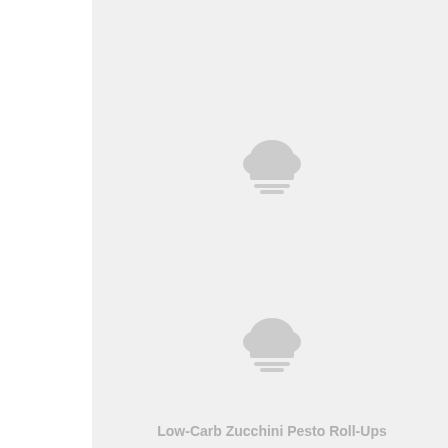[Figure (photo): Image placeholder with cloud icon for Homemade Low-Carb Zucchini Pickles recipe]
Homemade Low-Carb Zucchini Pickles
[Figure (photo): Image placeholder with cloud icon for Low-Carb Zucchini Pesto Roll-Ups recipe]
Low-Carb Zucchini Pesto Roll-Ups